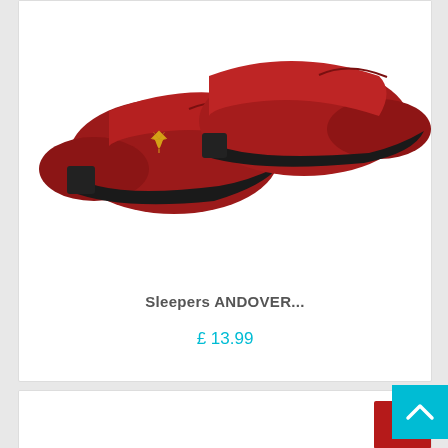[Figure (photo): A pair of red suede slip-on shoes/slippers with a small gold leaf emblem on the upper, black rubber soles, photographed on a white background from a slightly elevated angle.]
Sleepers ANDOVER...
£ 13.99
[Figure (photo): Partial view of a second product card below with a teal 'NEW' diagonal badge ribbon in the corner and the start of another red product image.]